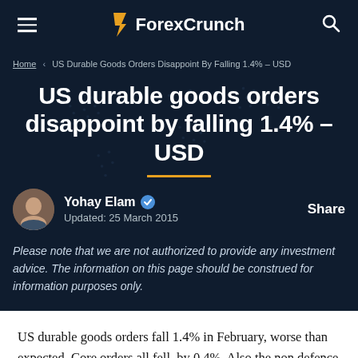ForexCrunch
Home > US Durable Goods Orders Disappoint By Falling 1.4% – USD
US durable goods orders disappoint by falling 1.4% – USD
Yohay Elam  Updated: 25 March 2015  Share
Please note that we are not authorized to provide any investment advice. The information on this page should be construed for information purposes only.
US durable goods orders fall 1.4% in February, worse than expected. Core orders all fell, by 0.4%. Also the non defence ex air is down 1.4%. This comes on top of